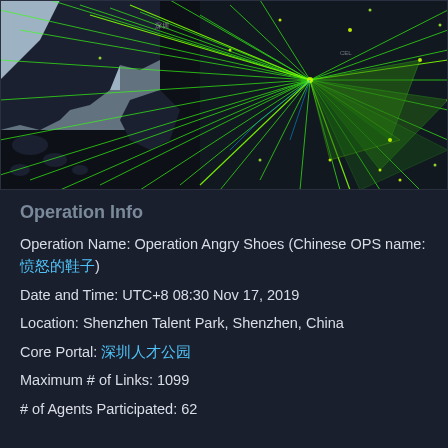[Figure (map): Dark map screenshot showing green lines and triangular field links radiating from Shenzhen area in China, representing Ingress game operation links and fields. Bright green lines fan outward with some yellow-green nodes visible.]
Operation Info
Operation Name: Operation Angry Shoes (Chinese OPS name: 愤怒的鸞鞋)
Date and Time: UTC+8 08:30 Nov 17, 2019
Location: Shenzhen Talent Park, Shenzhen, China
Core Portal: 深圳人才公园
Maximum # of Links: 1099
# of Agents Participated: 62